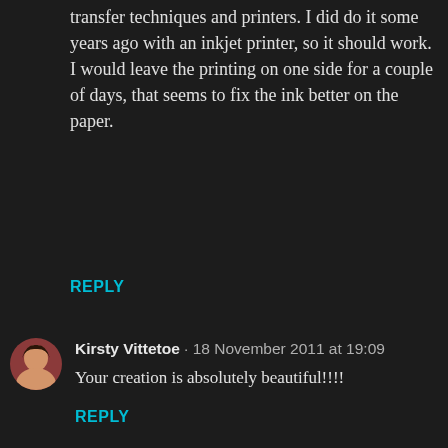transfer techniques and printers. I did do it some years ago with an inkjet printer, so it should work. I would leave the printing on one side for a couple of days, that seems to fix the ink better on the paper.
REPLY
Kirsty Vittetoe · 18 November 2011 at 19:09
Your creation is absolutely beautiful!!!!
REPLY
ania · 20 November 2011 at 16:40
Super!!!!!!!!!!!
REPLY
Andrea C · 24 November 2011 at 10:30
I think I love love love you hahaha (no not in that way!) I love people that have knowledge